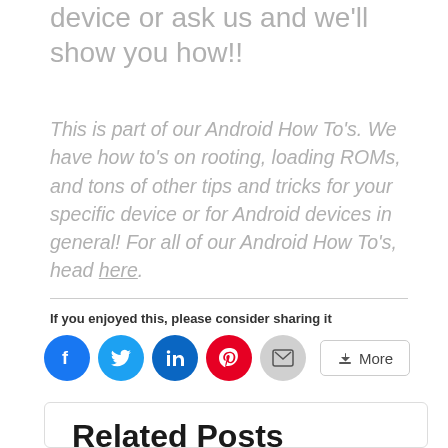device or ask us and we'll show you how!!
This is part of our Android How To's. We have how to's on rooting, loading ROMs, and tons of other tips and tricks for your specific device or for Android devices in general! For all of our Android How To's, head here.
If you enjoyed this, please consider sharing it
[Figure (other): Social share buttons: Facebook, Twitter, LinkedIn, Pinterest, Email, More]
Related Posts